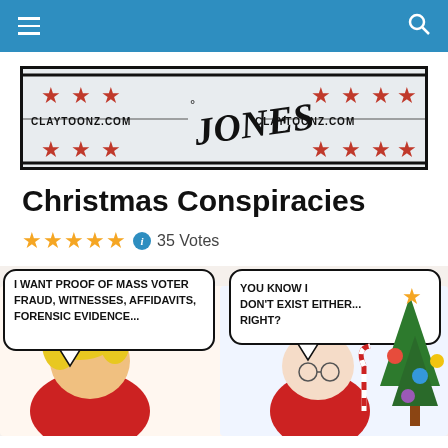Navigation bar with hamburger menu and search icon
[Figure (logo): Claytoonz.com logo banner with red stars, horizontal lines, and stylized 'JONES' text in the center]
Christmas Conspiracies
35 Votes
[Figure (illustration): Political cartoon showing a Trump-like character demanding 'I WANT PROOF OF MASS VOTER FRAUD, WITNESSES, AFFIDAVITS, FORENSIC EVIDENCE...' and Santa Claus replying 'YOU KNOW I DON'T EXIST EITHER... RIGHT?' near a Christmas tree with colorful ornaments]